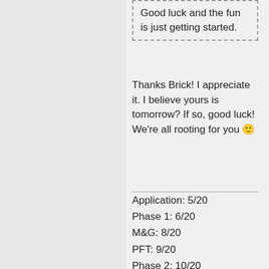Good luck and the fun is just getting started.
Thanks Brick! I appreciate it. I believe yours is tomorrow? If so, good luck! We're all rooting for you 🙂
Application: 5/20
Phase 1: 6/20
M&G: 8/20
PFT: 9/20
Phase 2: 10/20
Poly: 12/20
Medical: 1/21
Favorably Adj.: 3/21
BFTC: 8/21